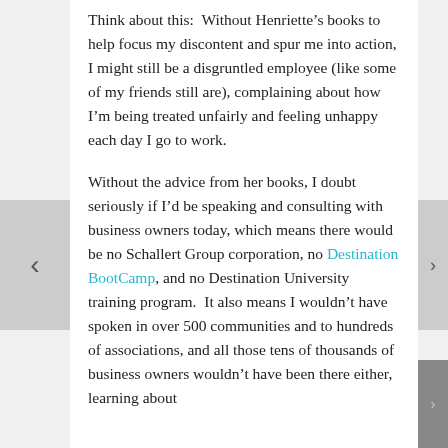Think about this:  Without Henriette's books to help focus my discontent and spur me into action, I might still be a disgruntled employee (like some of my friends still are), complaining about how I'm being treated unfairly and feeling unhappy each day I go to work.
Without the advice from her books, I doubt seriously if I'd be speaking and consulting with business owners today, which means there would be no Schallert Group corporation, no Destination BootCamp, and no Destination University training program.  It also means I wouldn't have spoken in over 500 communities and to hundreds of associations, and all those tens of thousands of business owners wouldn't have been there either, learning about